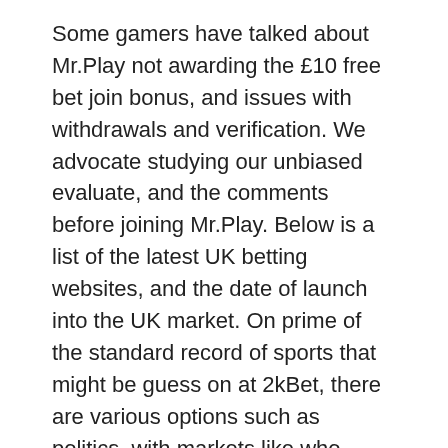Some gamers have talked about Mr.Play not awarding the £10 free bet join bonus, and issues with withdrawals and verification. We advocate studying our unbiased evaluate, and the comments before joining Mr.Play. Below is a list of the latest UK betting websites, and the date of launch into the UK market. On prime of the standard record of sports that might be guess on at 2kBet, there are various options such as politics, with markets like who would be the subsequent president of America out there to examine out. But with a £40 welcome bonus prone to appeal to many new users to join an account with STSbet, it looks like a matter of time till the agency ranks among the many industry massive boys. Various different promotions and bonuses can be accessed too – STSbet excels on this area.
To access your free wager, add a neww selection prime on your accredia. Note the formulate available on the d...